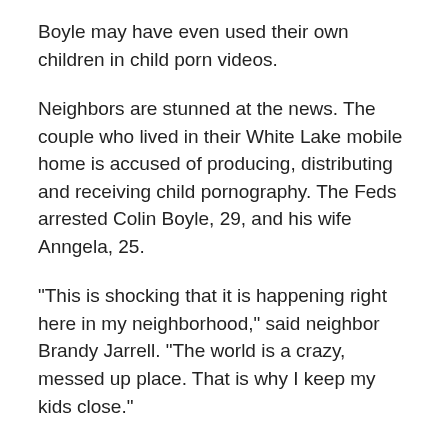Boyle may have even used their own children in child porn videos.
Neighbors are stunned at the news. The couple who lived in their White Lake mobile home is accused of producing, distributing and receiving child pornography. The Feds arrested Colin Boyle, 29, and his wife Anngela, 25.
"This is shocking that it is happening right here in my neighborhood," said neighbor Brandy Jarrell. "The world is a crazy, messed up place. That is why I keep my kids close."
The federal complaint accuses Colin and Anngela Boyle of sending child porn to each other by cell phone. Both are charged with receiving and possessing child